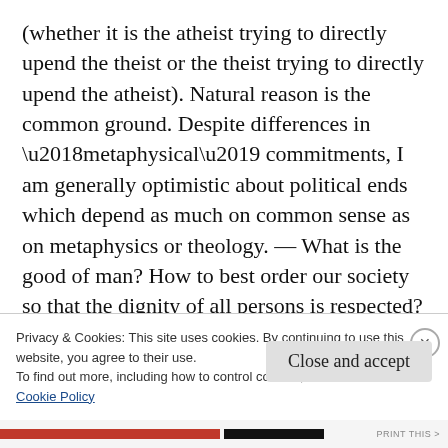(whether it is the atheist trying to directly upend the theist or the theist trying to directly upend the atheist). Natural reason is the common ground. Despite differences in ‘metaphysical’ commitments, I am generally optimistic about political ends which depend as much on common sense as on metaphysics or theology. — What is the good of man? How to best order our society so that the dignity of all persons is respected? What are our obligations to the poor and marginalized? What does it
Privacy & Cookies: This site uses cookies. By continuing to use this website, you agree to their use.
To find out more, including how to control cookies, see here:
Cookie Policy
Close and accept